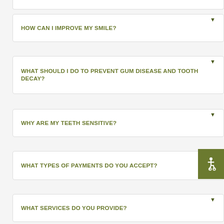HOW CAN I IMPROVE MY SMILE?
WHAT SHOULD I DO TO PREVENT GUM DISEASE AND TOOTH DECAY?
WHY ARE MY TEETH SENSITIVE?
WHAT TYPES OF PAYMENTS DO YOU ACCEPT?
WHAT SERVICES DO YOU PROVIDE?
[Figure (illustration): Accessibility icon - wheelchair symbol in olive/green square badge]